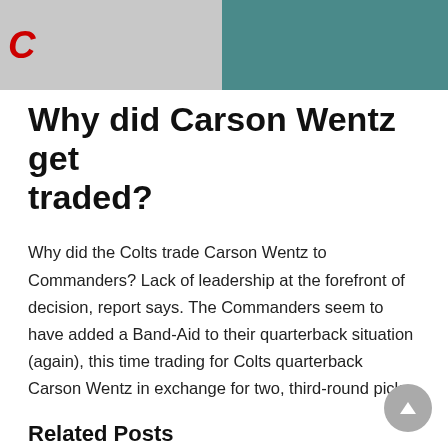[Figure (photo): Two photos side by side: left shows a football player in white jersey with ESPN logo visible, right shows a football player in teal/green jersey with NFL logo visible.]
Why did Carson Wentz get traded?
Why did the Colts trade Carson Wentz to Commanders? Lack of leadership at the forefront of decision, report says. The Commanders seem to have added a Band-Aid to their quarterback situation (again), this time trading for Colts quarterback Carson Wentz in exchange for two, third-round picks.
Related Posts
1. Where Is Nick Foles Playing In 2021
2. What Happened To Nick Foles